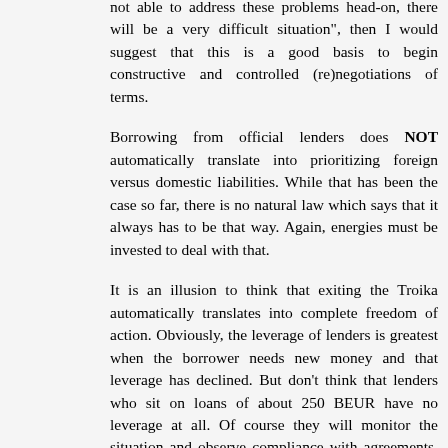not able to address these problems head-on, there will be a very difficult situation", then I would suggest that this is a good basis to begin constructive and controlled (re)negotiations of terms.
Borrowing from official lenders does NOT automatically translate into prioritizing foreign versus domestic liabilities. While that has been the case so far, there is no natural law which says that it always has to be that way. Again, energies must be invested to deal with that.
It is an illusion to think that exiting the Troika automatically translates into complete freedom of action. Obviously, the leverage of lenders is greatest when the borrower needs new money and that leverage has declined. But don't think that lenders who sit on loans of about 250 BEUR have no leverage at all. Of course they will monitor the situation and observe compliance with agreements. The (theoretical) threat is